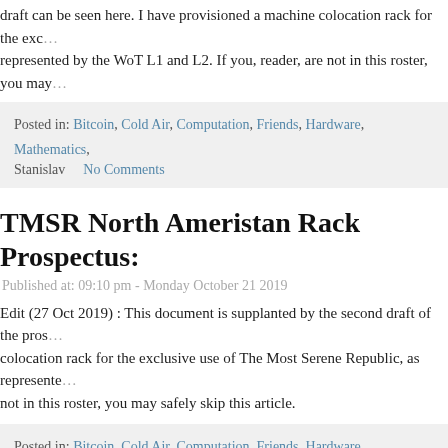draft can be seen here. I have provisioned a machine colocation rack for the exclusive use represented by the WoT L1 and L2. If you, reader, are not in this roster, you may
Posted in: Bitcoin, Cold Air, Computation, Friends, Hardware, Mathematics, Stanislav   No Comments
TMSR North Ameristan Rack Prospectus:
Published at: 09:10 pm - Monday October 21 2019
Edit (27 Oct 2019) : This document is supplanted by the second draft of the prospectus. colocation rack for the exclusive use of The Most Serene Republic, as represented. not in this roster, you may safely skip this article.
Posted in: Bitcoin, Cold Air, Computation, Friends, Hardware, Mathematics, Stanislav   2 Comments
“Finite Field Arithmetic.” Chapter 16A: Th
Published at: 10:01 pm - Monday January 28 2019
This article is part of a series of hands-on tutorials introducing FFA, or the Finite typical “Open Sores” abomination, in that — rather than trusting the author blindly